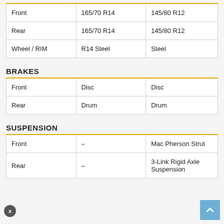|  |  |  |
| --- | --- | --- |
| Front | 165/70 R14 | 145/80 R12 |
| Rear | 165/70 R14 | 145/80 R12 |
| Wheel / RIM | R14 Steel | Steel |
BRAKES
|  |  |  |
| --- | --- | --- |
| Front | Disc | Disc |
| Rear | Drum | Drum |
SUSPENSION
|  |  |  |
| --- | --- | --- |
| Front | – | Mac Pherson Strut |
| Rear | – | 3-Link Rigid Axle Suspension |